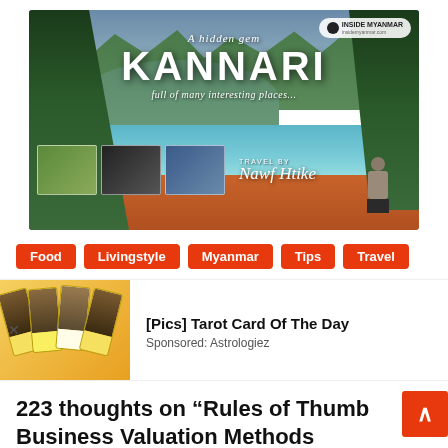[Figure (photo): Hero banner image showing Kannari, Myanmar landscape with lake, pine trees, and person standing on red rocks. Text overlay reads 'A hidden gem KANNARI full of many interesting places'. Travel by signature. Inside Myanmar logo top right. Three thumbnail photos bottom left.]
Food
Livingstyle
Myanmar
Tips
Travel
[Figure (photo): Advertisement: Tarot card images with yellow cards showing figures]
[Pics] Tarot Card Of The Day
Sponsored: Astrologiez
223 thoughts on “Rules of Thumb Business Valuation Methods Explained”